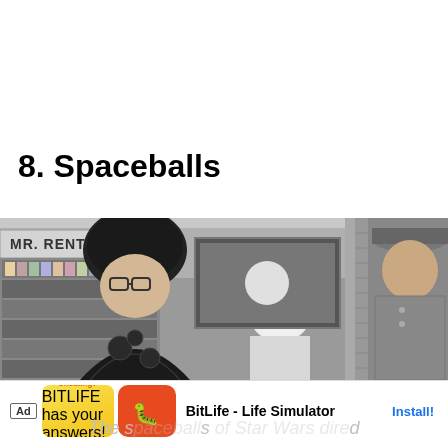8. Spaceballs
[Figure (photo): Movie still from Spaceballs showing Dark Helmet character in black costume with large helmet and glasses, alongside another uniformed character, in a sci-fi set with MR. RENTAL sign visible in background.]
[Figure (other): Mobile advertisement banner for BitLife - Life Simulator app with yellow/orange icon showing flexing arm labeled 'Cheating?' and red BitLife logo icon with sperm symbol. Shows 'Ad' label and 'Install!' button.]
The spaceballs of Star Wars directed